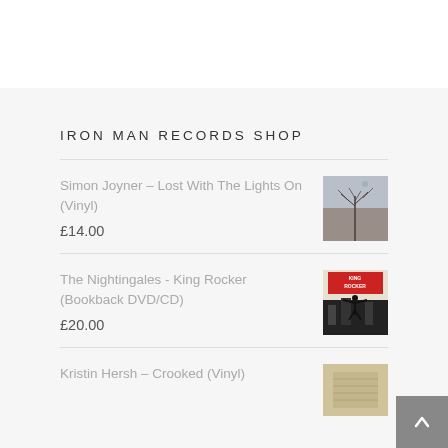IRON MAN RECORDS SHOP
Simon Joyner – Lost With The Lights On (Vinyl)
£14.00
The Nightingales - King Rocker (Bookback DVD/CD)
£20.00
Kristin Hersh – Crooked (Vinyl)